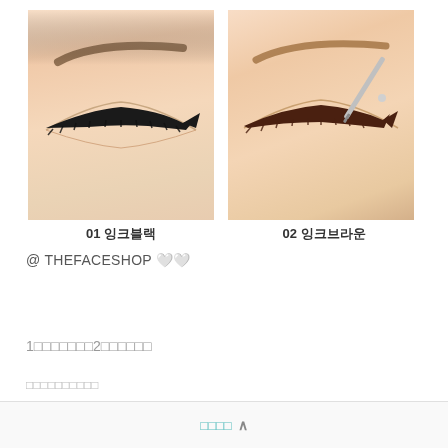[Figure (photo): Two side-by-side close-up photos of a woman's eye with eyeliner applied. Left photo shows eye with black ink liner (closed eye, thick black winged liner). Right photo shows eye with brown ink liner being applied with a pen applicator.]
01 잉크블랙
02 잉크브라운
@ THEFACESHOP 🤍🤍
1□□□□□□□2□□□□□□
□□□□□□□□□□
□□□□ ^